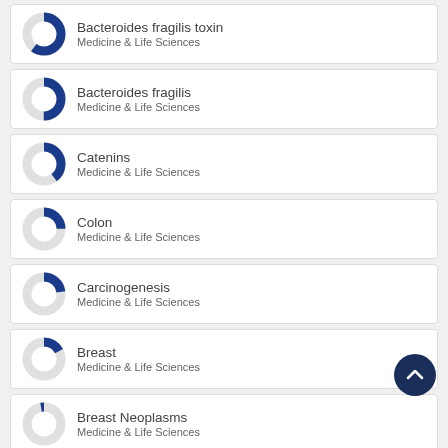Bacteroides fragilis toxin — Medicine & Life Sciences
Bacteroides fragilis — Medicine & Life Sciences
Catenins — Medicine & Life Sciences
Colon — Medicine & Life Sciences
Carcinogenesis — Medicine & Life Sciences
Breast — Medicine & Life Sciences
Breast Neoplasms — Medicine & Life Sciences
[Figure (other): Scroll-to-top navigation button (dark navy circle with upward chevron)]